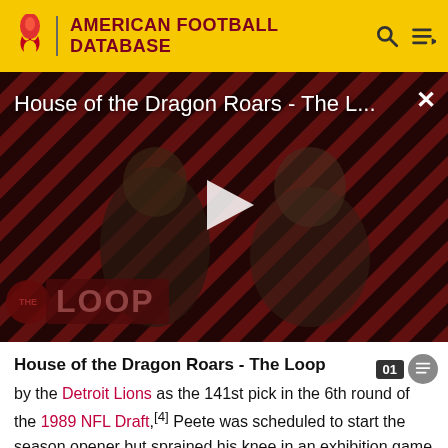AMERICAN FOOTBALL DATABASE
[Figure (screenshot): Video thumbnail showing House of the Dragon Roars - The Loop with two characters and a play button overlay, diagonal striped red/black background, with The Loop logo badge at bottom left]
House of the Dragon Roars - The Loop
by the Detroit Lions as the 141st pick in the 6th round of the 1989 NFL Draft,[4] Peete was scheduled to start the season opener but sprained his knee in an exhibition game against the Los Angeles Rams, missing the first few